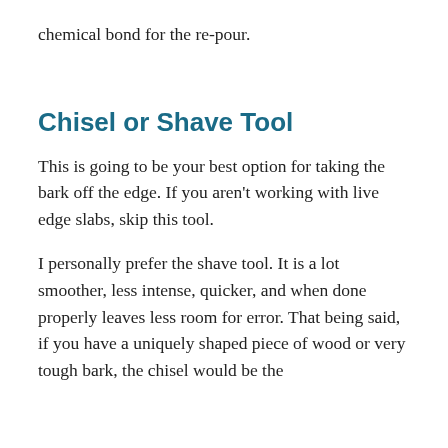chemical bond for the re-pour.
Chisel or Shave Tool
This is going to be your best option for taking the bark off the edge. If you aren't working with live edge slabs, skip this tool.
I personally prefer the shave tool. It is a lot smoother, less intense, quicker, and when done properly leaves less room for error. That being said, if you have a uniquely shaped piece of wood or very tough bark, the chisel would be the